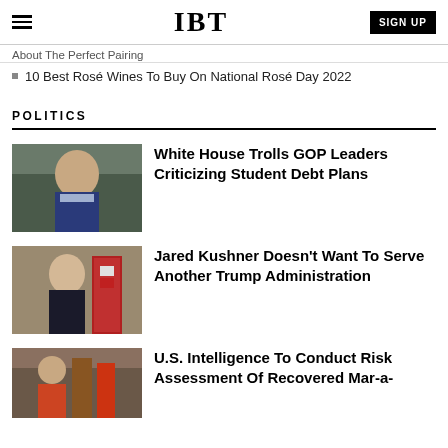IBT | SIGN UP
About The Perfect Pairing
10 Best Rosé Wines To Buy On National Rosé Day 2022
POLITICS
[Figure (photo): Biden waving in a suit]
White House Trolls GOP Leaders Criticizing Student Debt Plans
[Figure (photo): Jared Kushner speaking at podium with US flag]
Jared Kushner Doesn't Want To Serve Another Trump Administration
[Figure (photo): Trump rally crowd scene]
U.S. Intelligence To Conduct Risk Assessment Of Recovered Mar-a-